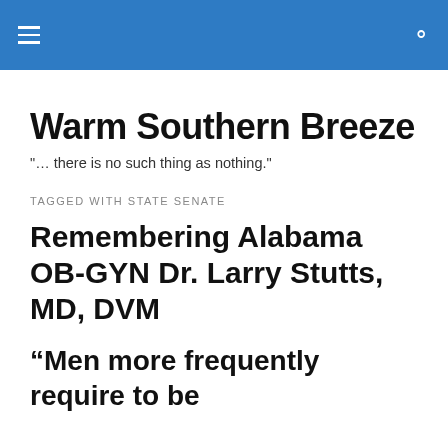Warm Southern Breeze — navigation header bar
Warm Southern Breeze
"… there is no such thing as nothing."
TAGGED WITH STATE SENATE
Remembering Alabama OB-GYN Dr. Larry Stutts, MD, DVM
“Men more frequently require to be reminded than informed.”